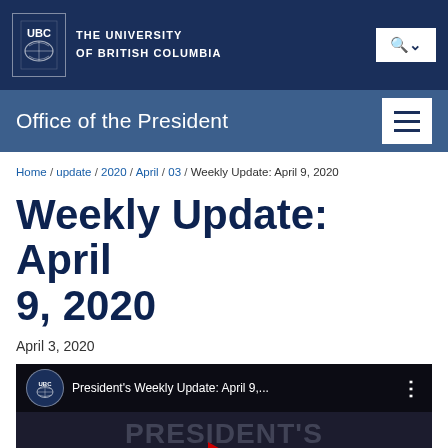THE UNIVERSITY OF BRITISH COLUMBIA
Office of the President
Home / update / 2020 / April / 03 / Weekly Update: April 9, 2020
Weekly Update: April 9, 2020
April 3, 2020
[Figure (screenshot): YouTube video thumbnail showing 'President's Weekly Update: April 9,...' with UBC logo icon, three-dot menu, and large background text reading PRESIDENT'S WEEKLY UPDATE with a red YouTube play button]